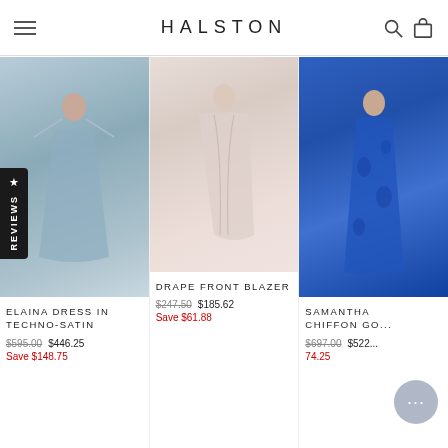HALSTON
[Figure (photo): Model wearing blue-grey Elaina Dress in Techno-Satin, long maxi dress with thin straps]
ELAINA DRESS IN TECHNO-SATIN
$595.00  $446.25
Save $148.75
[Figure (photo): Model wearing Drape Front Blazer in blush/light pink]
DRAPE FRONT BLAZER
$247.50  $185.62
Save $61.88
[Figure (photo): Model wearing Samantha Chiffon Gown in blue floral pattern]
SAMANTHA CHIFFON GO...
$697.00  $522...
74.25